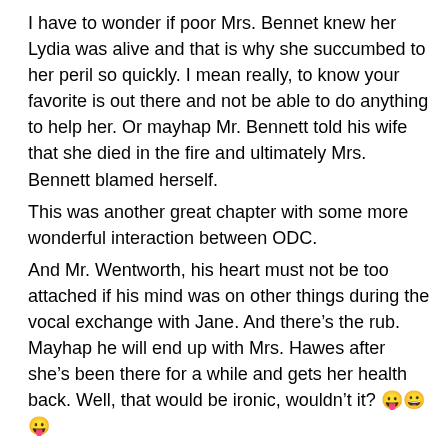I have to wonder if poor Mrs. Bennet knew her Lydia was alive and that is why she succumbed to her peril so quickly. I mean really, to know your favorite is out there and not be able to do anything to help her. Or mayhap Mr. Bennett told his wife that she died in the fire and ultimately Mrs. Bennett blamed herself.
This was another great chapter with some more wonderful interaction between ODC.
And Mr. Wentworth, his heart must not be too attached if his mind was on other things during the vocal exchange with Jane. And there’s the rub. Mayhap he will end up with Mrs. Hawes after she’s been there for a while and gets her health back. Well, that would be ironic, wouldn’t it? 😛😀😛